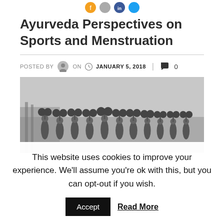[Figure (illustration): Social media share icons (Facebook, Twitter, LinkedIn, etc.) partially visible at top]
Ayurveda Perspectives on Sports and Menstruation
POSTED BY [avatar] ON [clock] JANUARY 5, 2018 | [comment icon] 0
[Figure (photo): Black and white historical photo of a line of women in swimsuits holding barbells with large balls above their heads, standing in water near a pier]
This website uses cookies to improve your experience. We'll assume you're ok with this, but you can opt-out if you wish.
Accept   Read More